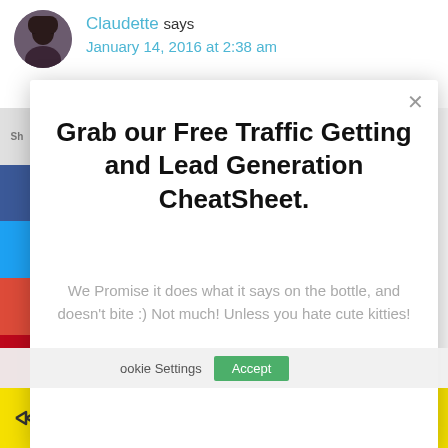Claudette says
January 14, 2016 at 2:38 am
Grab our Free Traffic Getting and Lead Generation CheatSheet.
We Promise it does what it says on the bottle, and doesn't bite :) Not much! Unless you hate cute kitties!
[Figure (photo): Three cats wearing knitted hats/hoods — one blue, one black, one blue-striped — posed together]
Cookie Settings   Accept
Powered by ManyChat
3